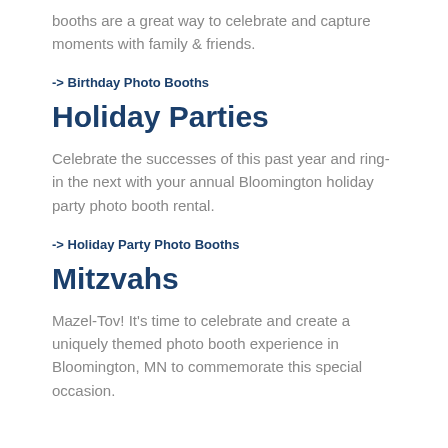booths are a great way to celebrate and capture moments with family & friends.
-> Birthday Photo Booths
Holiday Parties
Celebrate the successes of this past year and ring-in the next with your annual Bloomington holiday party photo booth rental.
-> Holiday Party Photo Booths
Mitzvahs
Mazel-Tov! It's time to celebrate and create a uniquely themed photo booth experience in Bloomington, MN to commemorate this special occasion.